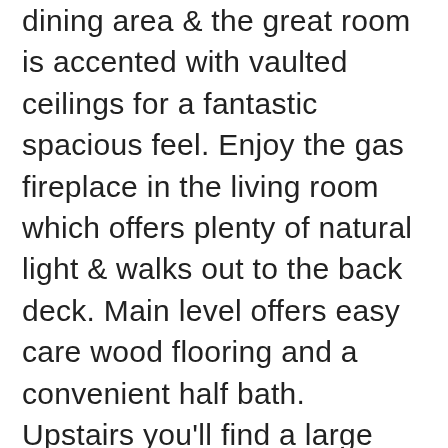dining area & the great room is accented with vaulted ceilings for a fantastic spacious feel. Enjoy the gas fireplace in the living room which offers plenty of natural light & walks out to the back deck. Main level offers easy care wood flooring and a convenient half bath. Upstairs you'll find a large master bedroom with 5 piece attached bath, soaker tub, walk-in closet and linen closet. The laundry area is located on the upper level as well as an additional full bathroom and 2 secondary bedrooms, one with a walk-in closet. The garden level basement offers a family room with wood floor an additional bedroom with walk in closet, a full bath and storage area with shelves. Spend summer evenings on the deck entertaining or on the bowl front porch along with a covered...